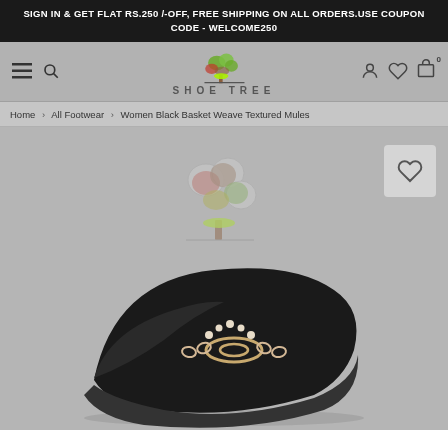SIGN IN & GET FLAT RS.250 /-OFF, FREE SHIPPING ON ALL ORDERS.USE COUPON CODE - WELCOME250
[Figure (logo): Shoe Tree brand logo with tree illustration and text SHOE TREE]
Home > All Footwear > Women Black Basket Weave Textured Mules
[Figure (photo): Product page showing Women Black Basket Weave Textured Mules on gray background with Shoe Tree watermark logo and a wishlist heart button in top right corner of product area]